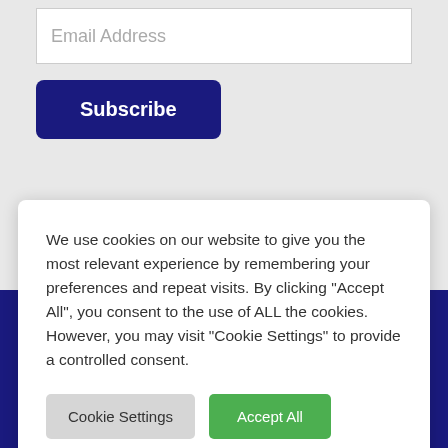Email Address
Subscribe
We use cookies on our website to give you the most relevant experience by remembering your preferences and repeat visits. By clicking "Accept All", you consent to the use of ALL the cookies. However, you may visit "Cookie Settings" to provide a controlled consent.
Cookie Settings
Accept All
Shipping & Returns
Terms & Conditions
Contact Us
Contact